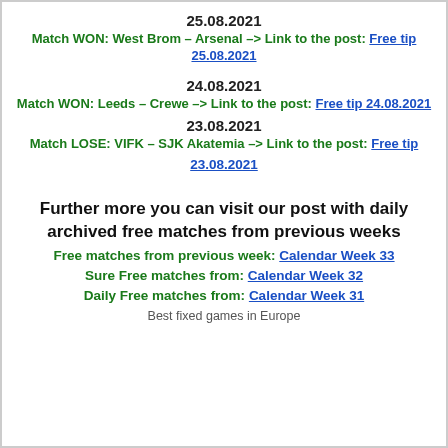25.08.2021
Match WON: West Brom – Arsenal –> Link to the post: Free tip 25.08.2021
24.08.2021
Match WON: Leeds – Crewe –> Link to the post: Free tip 24.08.2021
23.08.2021
Match LOSE: VIFK – SJK Akatemia –> Link to the post: Free tip 23.08.2021
Further more you can visit our post with daily archived free matches from previous weeks
Free matches from previous week: Calendar Week 33
Sure Free matches from: Calendar Week 32
Daily Free matches from: Calendar Week 31
Best fixed games in Europe